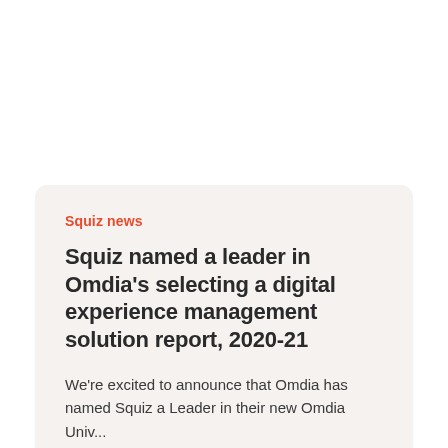Squiz news
Squiz named a leader in Omdia's selecting a digital experience management solution report, 2020-21
We're excited to announce that Omdia has named Squiz a Leader in their new Omdia Univ...